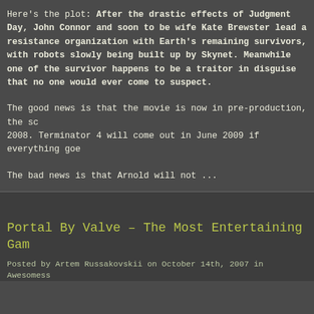Here's the plot: After the drastic effects of Judgment Day, John Connor and soon to be wife Kate Brewster lead a resistance organization with Earth's remaining survivors, with robots slowly being built up by Skynet. Meanwhile one of the survivor happens to be a traitor in disguise that no one would ever come to suspect.
The good news is that the movie is now in pre-production, the script was done in 2008. Terminator 4 will come out in June 2009 if everything goes according to plan.
The bad news is that Arnold will not ...
Portal By Valve – The Most Entertaining Gam
Posted by Artem Russakovskii on October 14th, 2007 in Awesomeness